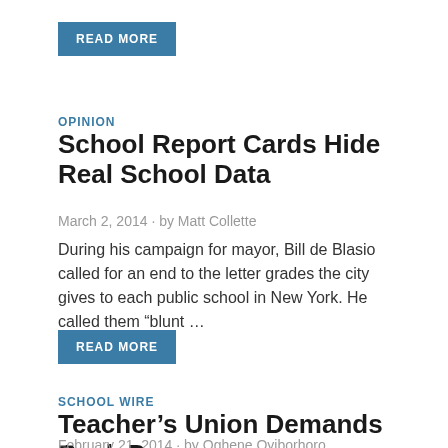READ MORE
OPINION
School Report Cards Hide Real School Data
March 2, 2014  -  by Matt Collette
During his campaign for mayor, Bill de Blasio called for an end to the letter grades the city gives to each public school in New York. He called them “blunt …
READ MORE
SCHOOL WIRE
Teacher’s Union Demands Back Pay
February 21, 2014  -  by Oghene Oyiborhoro